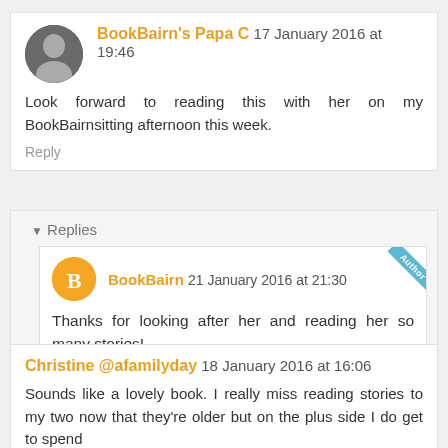BookBairn's Papa C 17 January 2016 at 19:46
Look forward to reading this with her on my BookBairnsitting afternoon this week.
Reply
Replies
BookBairn 21 January 2016 at 21:30
Thanks for looking after her and reading her so many stories!
Christine @afamilyday 18 January 2016 at 16:06
Sounds like a lovely book. I really miss reading stories to my two now that they're older but on the plus side I do get to spend